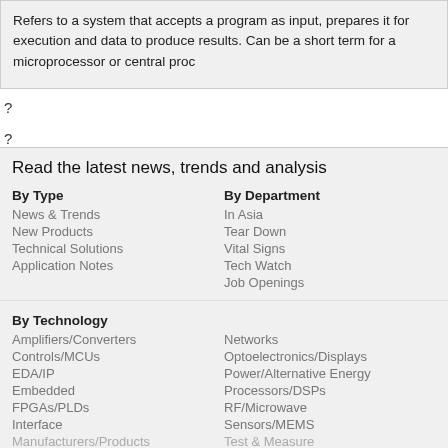Refers to a system that accepts a program as input, prepares it for execution and data to produce results. Can be a short term for a microprocessor or central proc
?
?
Read the latest news, trends and analysis
By Type
News & Trends
New Products
Technical Solutions
Application Notes
By Department
In Asia
Tear Down
Vital Signs
Tech Watch
Job Openings
By Technology
Amplifiers/Converters
Controls/MCUs
EDA/IP
Embedded
FPGAs/PLDs
Interface
Networks
Optoelectronics/Displays
Power/Alternative Energy
Processors/DSPs
RF/Microwave
Sensors/MEMS